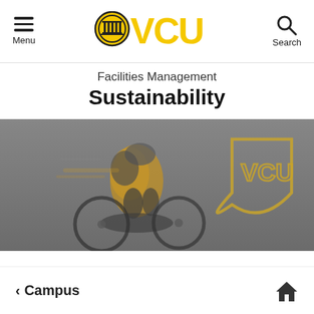Menu | VCU | Search
Facilities Management
Sustainability
[Figure (photo): Motion-blurred photo of a cyclist in a yellow jacket and helmet riding a bicycle on a gray asphalt surface with a gold VCU logo/shield painted on the pavement]
< Campus